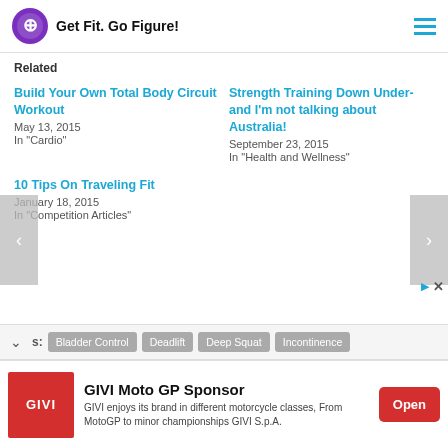Get Fit. Go Figure!
Related
Build Your Own Total Body Circuit Workout
May 13, 2015
In "Cardio"
Strength Training Down Under- and I'm not talking about Australia!
September 23, 2015
In "Health and Wellness"
10 Tips On Traveling Fit
January 18, 2015
In "Competition Articles"
Tags: Bladder Control  Deadlift  Deep Squat  Incontinence
GIVI Moto GP Sponsor
GIVI enjoys its brand in different motorcycle classes, From MotoGP to minor championships GIVI S.p.A.